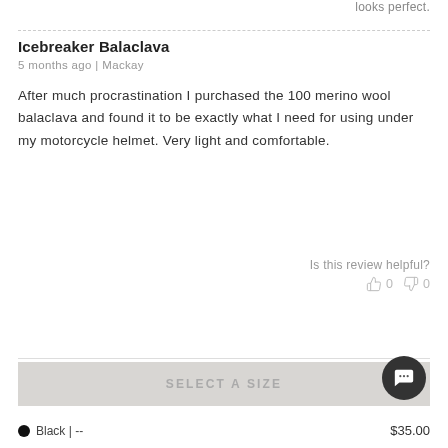looks perfect.
Icebreaker Balaclava
5 months ago | Mackay
After much procrastination I purchased the 100 merino wool balaclava and found it to be exactly what I need for using under my motorcycle helmet. Very light and comfortable.
Is this review helpful?
0  0
SELECT A SIZE
Black | --
$35.00